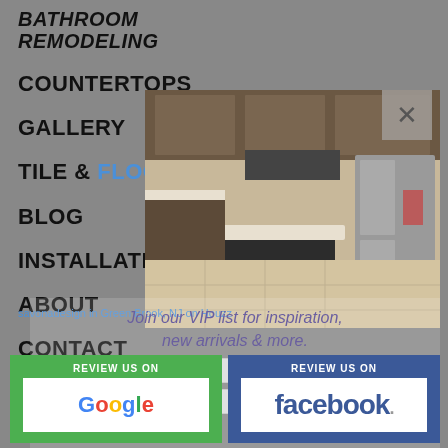Bathroom Remodeling
COUNTERTOPS
GALLERY
TILE & FLOORING
BLOG
INSTALLATION
ABOUT
CONTACT
[Figure (photo): Kitchen interior with dark island, wooden cabinets, and stainless appliances]
savonadesign in Green Brook, NJ on Houzz
Join our VIP list for inspiration, new arrivals & more.
Enter your name
Enter your email
REVIEW US ON Google
REVIEW US ON facebook